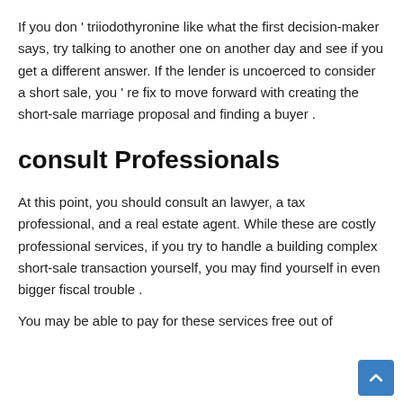If you don ' triiodothyronine like what the first decision-maker says, try talking to another one on another day and see if you get a different answer. If the lender is uncoerced to consider a short sale, you ' re fix to move forward with creating the short-sale marriage proposal and finding a buyer .
consult Professionals
At this point, you should consult an lawyer, a tax professional, and a real estate agent. While these are costly professional services, if you try to handle a building complex short-sale transaction yourself, you may find yourself in even bigger fiscal trouble .
You may be able to pay for these services free out of...